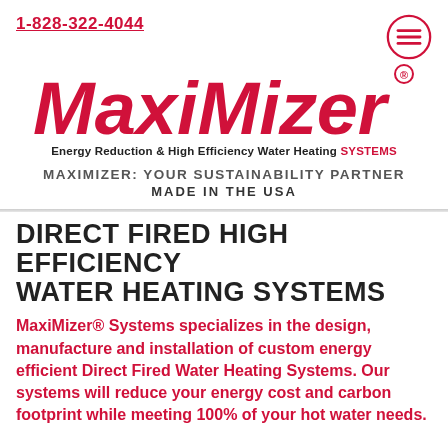1-828-322-4044
[Figure (logo): MaxiMizer logo in bold red italic text with registered trademark symbol, tagline: Energy Reduction & High Efficiency Water Heating SYSTEMS]
MAXIMIZER: YOUR SUSTAINABILITY PARTNER
MADE IN THE USA
DIRECT FIRED HIGH EFFICIENCY WATER HEATING SYSTEMS
MaxiMizer® Systems specializes in the design, manufacture and installation of custom energy efficient Direct Fired Water Heating Systems. Our systems will reduce your energy cost and carbon footprint while meeting 100% of your hot water needs.